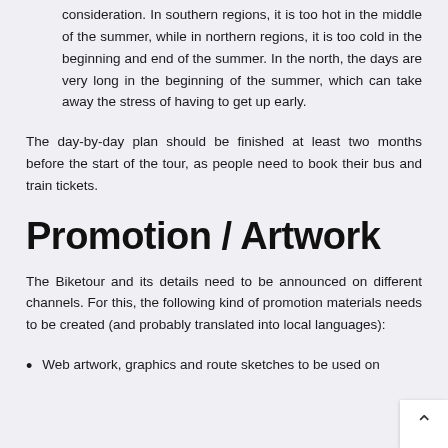consideration. In southern regions, it is too hot in the middle of the summer, while in northern regions, it is too cold in the beginning and end of the summer. In the north, the days are very long in the beginning of the summer, which can take away the stress of having to get up early.
The day-by-day plan should be finished at least two months before the start of the tour, as people need to book their bus and train tickets.
Promotion / Artwork
The Biketour and its details need to be announced on different channels. For this, the following kind of promotion materials needs to be created (and probably translated into local languages):
Web artwork, graphics and route sketches to be used on